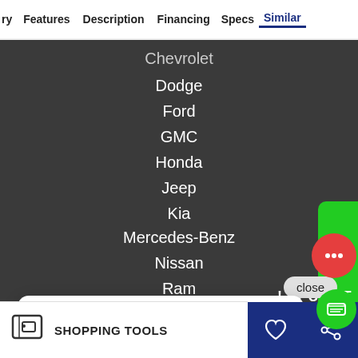ry   Features   Description   Financing   Specs   Similar
Chevrolet
Dodge
Ford
GMC
Honda
Jeep
Kia
Mercedes-Benz
Nissan
Ram
close
Se habla espanol, como le puedo ayuda?
Sales: (214) 230-0101
Service: (972) 645-1200
SHOPPING TOOLS
TEXT US!